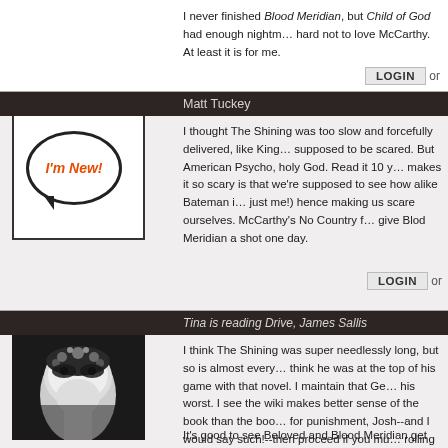I never finished Blood Meridian, but Child of God had enough nightm... hard not to love McCarthy. At least it is for me.
LOGIN or
Matt Tuckey
I thought The Shining was too slow and forcefully delivered, like King... supposed to be scared. But American Psycho, holy God. Read it 10 y... makes it so scary is that we're supposed to see how alike Bateman i... just me!) hence making us scare ourselves. McCarthy's No Country f... give Blod Meridian a shot one day.
LOGIN or
Tina is reading Drive, James Sallis
I think The Shining was super needlessly long, but so is almost every... think he was at the top of his game with that novel. I maintain that Ge... his worst. I see the wiki makes better sense of the book than the boo... for punishment, Josh--and I would say such!--then proceed if you mu... rolling after the first quarter. The creep in the corner watching is way... to metaphorically represent; fail.
It's good to see Beloved and Blood Meridian get some likewise love f...